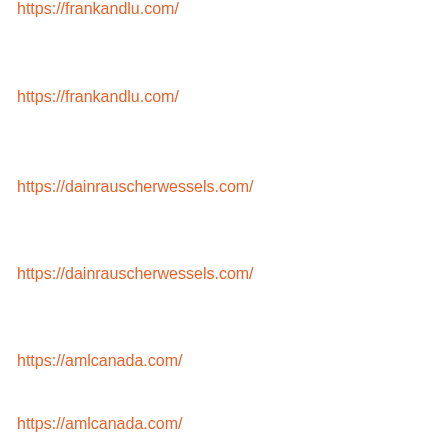https://frankandlu.com/
https://frankandlu.com/
https://dainrauscherwessels.com/
https://dainrauscherwessels.com/
https://amlcanada.com/
https://amlcanada.com/